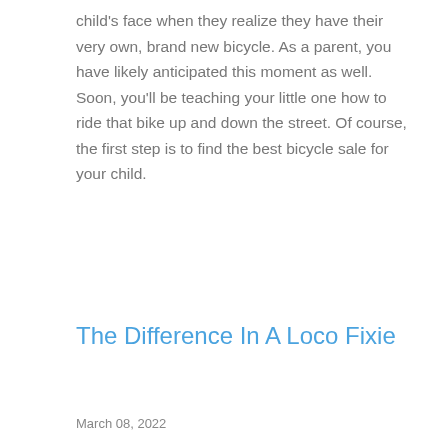child's face when they realize they have their very own, brand new bicycle. As a parent, you have likely anticipated this moment as well. Soon, you'll be teaching your little one how to ride that bike up and down the street. Of course, the first step is to find the best bicycle sale for your child.
The Difference In A Loco Fixie
March 08, 2022